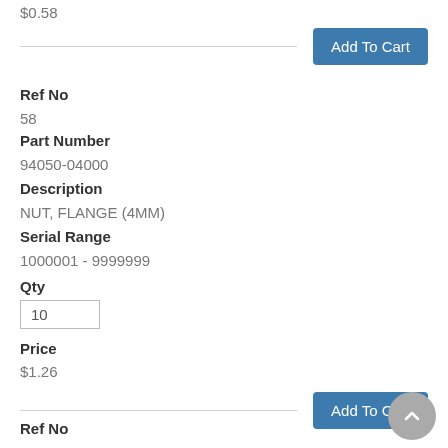$0.58
Add To Cart
Ref No
58
Part Number
94050-04000
Description
NUT, FLANGE (4MM)
Serial Range
1000001 - 9999999
Qty
10
Price
$1.26
Add To Cart
Ref No
59
Part Number